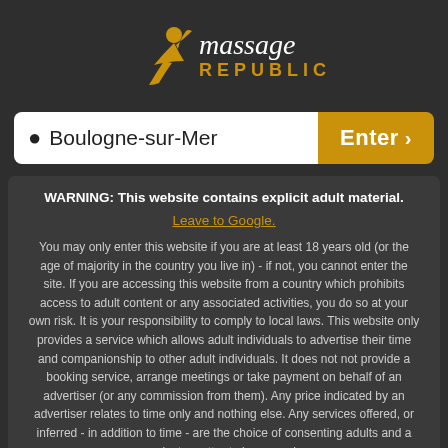[Figure (logo): Massage Republic logo with golden figure silhouette and text 'Massage REPUBLIC' in gold and white]
Boulogne-sur-Mer  Enter >
WARNING: This website contains explicit adult material.
Leave to Google.
You may only enter this website if you are at least 18 years old (or the age of majority in the country you live in) - if not, you cannot enter the site. If you are accessing this website from a country which prohibits access to adult content or any associated activities, you do so at your own risk. It is your responsibility to comply to local laws. This website only provides a service which allows adult individuals to advertise their time and companionship to other adult individuals. It does not not provide a booking service, arrange meetings or take payment on behalf of an advertiser (or any commission from them). Any price indicated by an advertiser relates to time only and nothing else. Any services offered, or inferred - in addition to time - are the choice of consenting adults and a private matter to be agreed